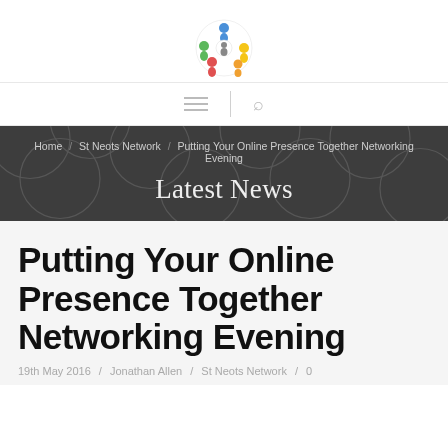[Figure (logo): Colorful circular logo with people/figures in blue, yellow, red, green]
Home / St Neots Network / Putting Your Online Presence Together Networking Evening
Latest News
Putting Your Online Presence Together Networking Evening
19th May 2016 / Jonathan Allen / St Neots Network / 0